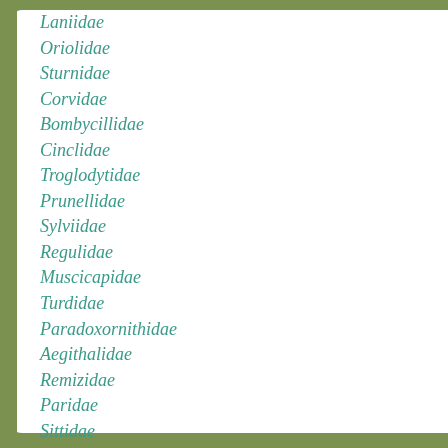Laniidae
Oriolidae
Sturnidae
Corvidae
Bombycillidae
Cinclidae
Troglodytidae
Prunellidae
Sylviidae
Regulidae
Muscicapidae
Turdidae
Paradoxornithidae
Aegithalidae
Remizidae
Paridae
Sittidae
Certhiidae
Ploceidae
Fringillidae
Emberizidae
Northern Lapwing | Family Kuzhe...
[Figure (other): White content box on right side, partially visible]